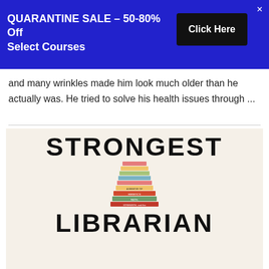QUARANTINE SALE – 50-80% Off Select Courses | Click Here
and many wrinkles made him look much older than he actually was. He tried to solve his health issues through ...
[Figure (photo): Book cover of 'Strongest Librarian' showing a tall stack of colorful books with the words STRONGEST LIBRARIAN in bold black letters on a cream background]